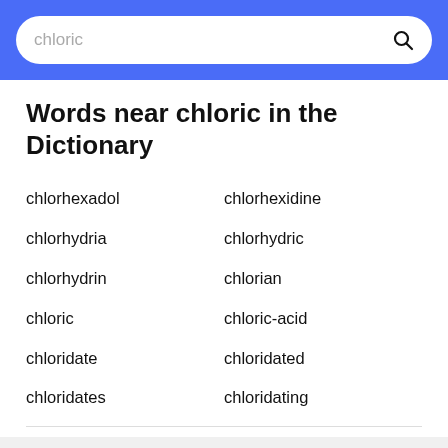chloric
Words near chloric in the Dictionary
chlorhexadol
chlorhexidine
chlorhydria
chlorhydric
chlorhydrin
chlorian
chloric
chloric-acid
chloridate
chloridated
chloridates
chloridating